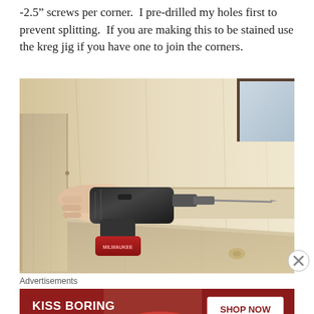-2.5" screws per corner.  I pre-drilled my holes first to prevent splitting.  If you are making this to be stained use the kreg jig if you have one to join the corners.
[Figure (photo): A hand holding a cordless drill (Milwaukee brand) drilling into the corner joint of unfinished pine/spruce wood planks assembled as a box or bench frame, on a dark hardwood floor.]
Advertisements
[Figure (photo): Advertisement banner for Macy's lipstick/beauty product: 'KISS BORING LIPS GOODBYE' with a woman's face showing red lips, and a 'SHOP NOW' button with the Macy's star logo.]